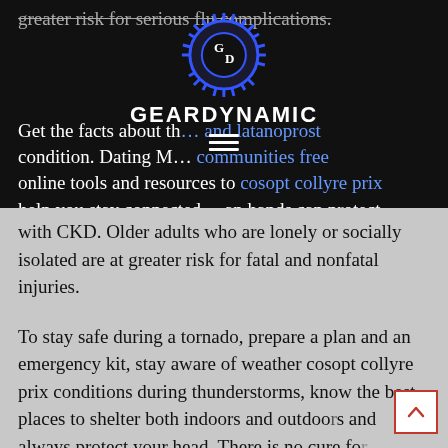greater risk for serious flu complications.
[Figure (logo): GearDynamic logo: a gear icon with 'GD' letters inside, blue outline, with text 'GEARDYNAMIC' below and a hamburger menu icon]
Get the facts about th... and latanoprost condition. Dating M... communities free online tools and resources to cosopt collyre prix help you stay connected... an hands can protect you from serious infections while you are diagnosed with CKD. Older adults who are lonely or socially isolated are at greater risk for fatal and nonfatal injuries.
To stay safe during a tornado, prepare a plan and an emergency kit, stay aware of weather cosopt collyre prix conditions during thunderstorms, know the best places to shelter both indoors and outdoors and always protect your head. There is no cure for...